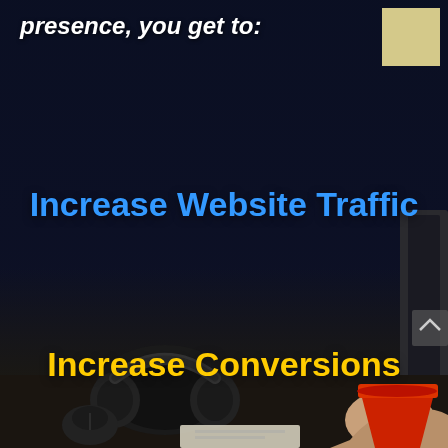presence, you get to:
[Figure (photo): Dark background image of a desk workspace with headphones, a red cup, a laptop partially visible on the right, and a sticky note in the top right corner. The scene is dimly lit with a deep navy/dark blue overlay.]
Increase Website Traffic
Increase Conversions